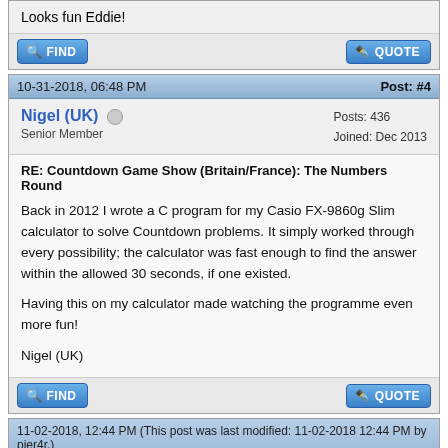Looks fun Eddie!
FIND | QUOTE
10-31-2018, 06:48 PM  Post: #4
Nigel (UK) — Senior Member — Posts: 436 — Joined: Dec 2013
RE: Countdown Game Show (Britain/France): The Numbers Round
Back in 2012 I wrote a C program for my Casio FX-9860g Slim calculator to solve Countdown problems. It simply worked through every possibility; the calculator was fast enough to find the answer within the allowed 30 seconds, if one existed.

Having this on my calculator made watching the programme even more fun!

Nigel (UK)
FIND | QUOTE
11-02-2018, 12:44 PM (This post was last modified: 11-02-2018 12:44 PM by pier4r.)  Post: #5
pier4r — Posts: 2,108